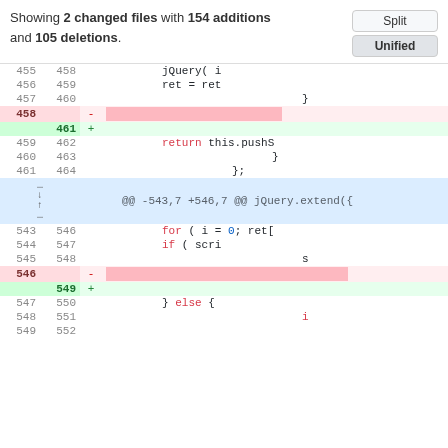Showing 2 changed files with 154 additions and 105 deletions.
| old_ln | new_ln | op | code |
| --- | --- | --- | --- |
| 455 | 458 |  | jQuery( i |
| 456 | 459 |  | ret = ret |
| 457 | 460 |  | } |
| 458 |  | -  | [deleted] |
|  | 461 | +  |  |
| 459 | 462 |  | return this.pushS |
| 460 | 463 |  | } |
| 461 | 464 |  | }; |
| [hunk] |  |  | @@ -543,7 +546,7 @@ jQuery.extend({ |
| 543 | 546 |  | for ( i = 0; ret[ |
| 544 | 547 |  | if ( scri |
| 545 | 548 |  | s |
| 546 |  | -  | [deleted] |
|  | 549 | +  |  |
| 547 | 550 |  | } else { |
| 548 | 551 |  | i |
| 549 | 552 |  |  |